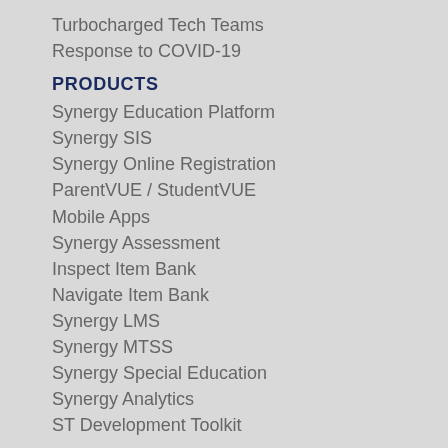Turbocharged Tech Teams
Response to COVID-19
PRODUCTS
Synergy Education Platform
Synergy SIS
Synergy Online Registration
ParentVUE / StudentVUE
Mobile Apps
Synergy Assessment
Inspect Item Bank
Navigate Item Bank
Synergy LMS
Synergy MTSS
Synergy Special Education
Synergy Analytics
ST Development Toolkit